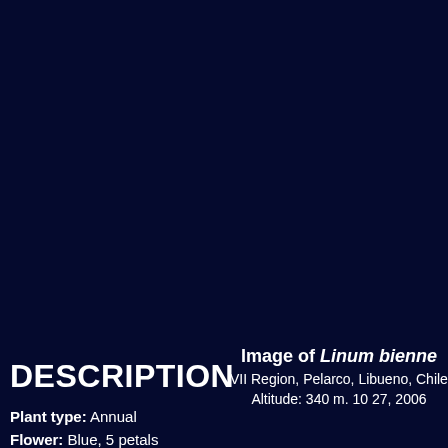Image of Linum bienne
VII Region, Pelarco, Libueno, Chile
Altitude: 340 m. 10 27, 2006
DESCRIPTION
Plant type: Annual
Flower: Blue, 5 petals
Height: 70 cm.